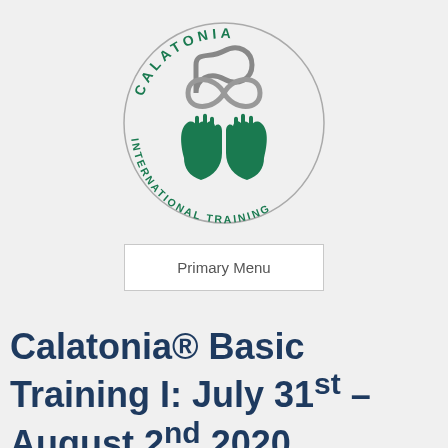[Figure (logo): Calatonia International Training circular logo with two green hands cupping an infinity symbol, text 'CALATONIA' on top arc and 'INTERNATIONAL TRAINING' on bottom arc]
Primary Menu
Calatonia® Basic Training I: July 31st – August 2nd 2020